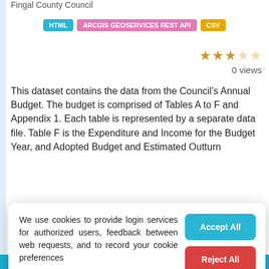Fingal County Council
HTML | ARCGIS GEOSERVICES REST API | CSV
0 views
This dataset contains the data from the Council's Annual Budget. The budget is comprised of Tables A to F and Appendix 1. Each table is represented by a separate data file. Table F is the Expenditure and Income for the Budget Year, and Adopted Budget and Estimated Outturn
We use cookies to provide login services for authorized users, feedback between web requests, and to record your cookie preferences

You can change your settings at any time, including withdrawing your consent, by going to the Privacy Policy page of this site.
Accept All
Reject All
Preferences
+353 1 6767571